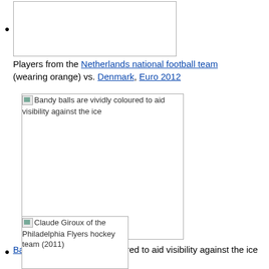[image] Players from the Netherlands national football team (wearing orange) vs. Denmark, Euro 2012
[Figure (photo): Bandy balls are vividly coloured to aid visibility against the ice - image placeholder]
Bandy balls are vividly coloured to aid visibility against the ice
[Figure (photo): Claude Giroux of the Philadelphia Flyers hockey team (2011) - image placeholder]